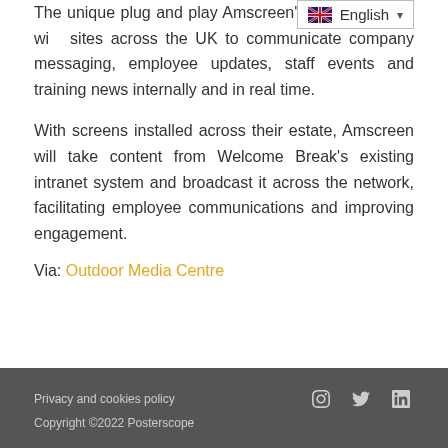The unique plug and play Amscreen's digital screens wi... sites across the UK to communicate company messaging, employee updates, staff events and training news internally and in real time. With screens installed across their estate, Amscreen will take content from Welcome Break's existing intranet system and broadcast it across the network, facilitating employee communications and improving engagement.
Via: Outdoor Media Centre
Privacy and cookies policy | Copyright ©2022 Posterscope